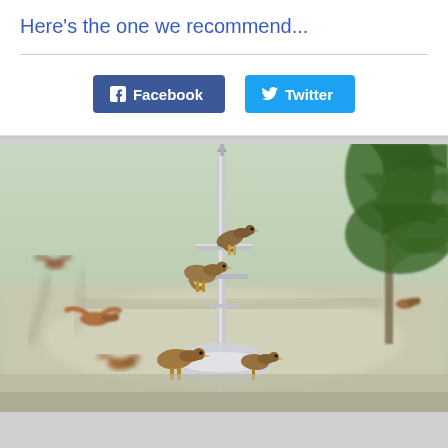Here's the one we recommend...
[Figure (photo): Birds perched on a chrome bird feeder with a vertical pole/antenna, pine tree branches visible on the right, blurred fence and landscape in background, multiple small brown birds in flight and perched]
Facebook
Twitter